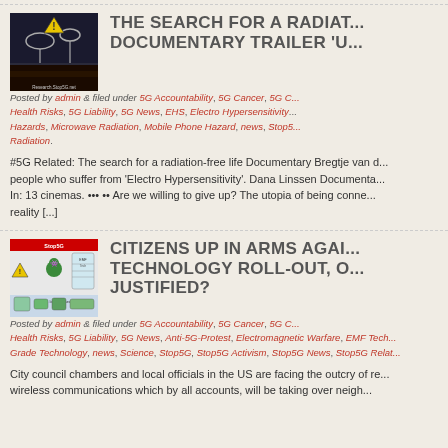[Figure (photo): Documentary poster with hazard symbols, satellite dishes, people, and text 'Research Stop5G.net']
THE SEARCH FOR A RADIATION-FREE LIFE DOCUMENTARY TRAILER 'U...'
Posted by admin & filed under 5G Accountability, 5G Cancer, 5G C... Health Risks, 5G Liability, 5G News, EHS, Electro Hypersensitivity... Hazards, Microwave Radiation, Mobile Phone Hazard, news, Stop5... Radiation.
#5G Related: The search for a radiation-free life Documentary Bregtje van d... people who suffer from 'Electro Hypersensitivity'. Dana Linssen Documenta... In: 13 cinemas. ••• •• Are we willing to give up? The utopia of being conne... reality [...]
[Figure (illustration): Stop5G infographic with warning symbols, green alien figure, body diagram showing EMF tech exposures]
CITIZENS UP IN ARMS AGAINST 5G TECHNOLOGY ROLL-OUT, ARE THEY JUSTIFIED?
Posted by admin & filed under 5G Accountability, 5G Cancer, 5G C... Health Risks, 5G Liability, 5G News, Anti-5G-Protest, Electromagnetic Warfare, EMF Tech... Grade Technology, news, Science, Stop5G, Stop5G Activism, Stop5G News, Stop5G Relat...
City council chambers and local officials in the US are facing the outcry of re... wireless communications which by all accounts, will be taking over neigh...